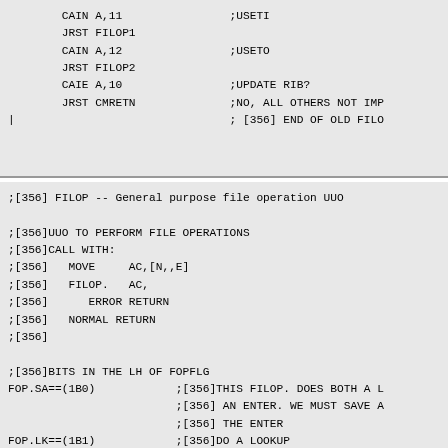CAIN A,11   ;USETI
JRST FILOP1
CAIN A,12   ;USETO
JRST FILOP2
CAIE A,10   ;UPDATE RIB?
JRST CMRETN ;NO, ALL OTHERS NOT IMP
|           ; [356] END OF OLD FILO
;[356] FILOP -- General purpose file operation UUO

;[356]UUO TO PERFORM FILE OPERATIONS
;[356]CALL WITH:
;[356]   MOVE    AC,[N,,E]
;[356]   FILOP.  AC,
;[356]      ERROR RETURN
;[356]   NORMAL RETURN
;[356]

;[356]BITS IN THE LH OF FOPFLG
FOP.SA==(1B0)   ;[356]THIS FILOP. DOES BOTH A L
                ;[356] AN ENTER. WE MUST SAVE A
                ;[356] THE ENTER
FOP.LK==(1B1)   ;[356]DO A LOOKUP
FOP.EN==(1B2)   ;[356]DO AN ENTER
FOP.MA==(1B3)   ;[356]MULTI-ACCESS UPDATE
FOP.AP==(1B4)   ;[356]APPEND
FOP.PV==(1B5)   ;[356]REQUESTING PRIVS.
FOP.NS==(1B6)   ;[356]DO NOT SUPERSEDE